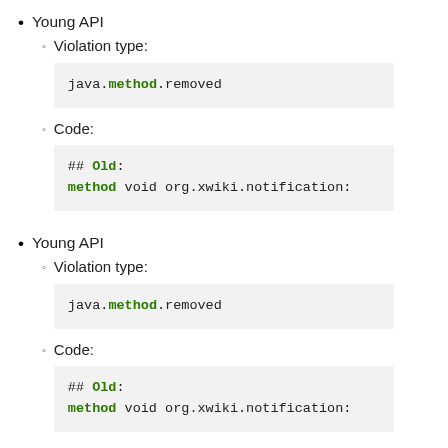Young API
Violation type:
java.method.removed
Code:
## Old:
method void org.xwiki.notification:
Young API
Violation type:
java.method.removed
Code:
## Old:
method void org.xwiki.notification: